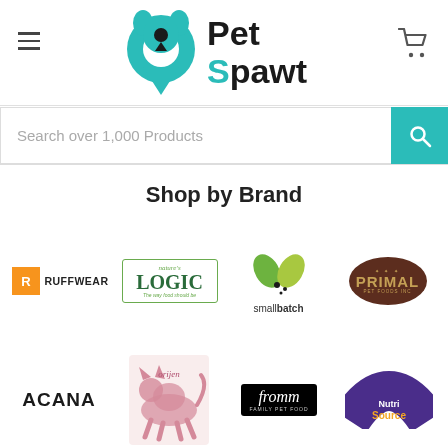[Figure (logo): Pet Spawt logo with teal dog/location-pin icon and text 'Pet Spawt']
Search over 1,000 Products
Shop by Brand
[Figure (logo): Ruffwear logo]
[Figure (logo): Nature's Logic logo in green bordered box]
[Figure (logo): Smallbatch logo with green leaf icons]
[Figure (logo): Primal Pet Foods oval logo in brown and gold]
[Figure (logo): Acana logo in bold black text]
[Figure (logo): Orijen logo with pink/rose illustrated cat]
[Figure (logo): Fromm Family Pet Food logo in black box]
[Figure (logo): NutriSource pet food logo]